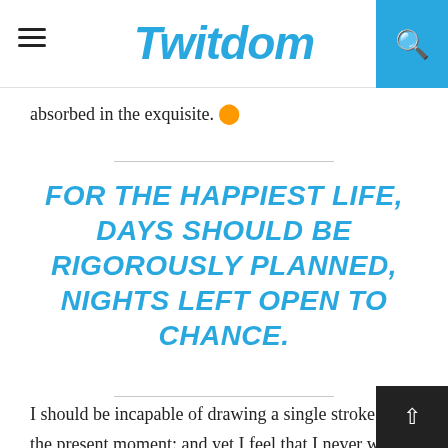Twitdom
absorbed in the exquisite.
FOR THE HAPPIEST LIFE, DAYS SHOULD BE RIGOROUSLY PLANNED, NIGHTS LEFT OPEN TO CHANCE.
I should be incapable of drawing a single stroke at the present moment; and yet I feel that I never was a greater artist than now. When, while the lovely valley teems with vapour around me, and the meridian sun strikes the upper surface of the impenetrable foliage of my trees, and but a few stray gleams steal into the